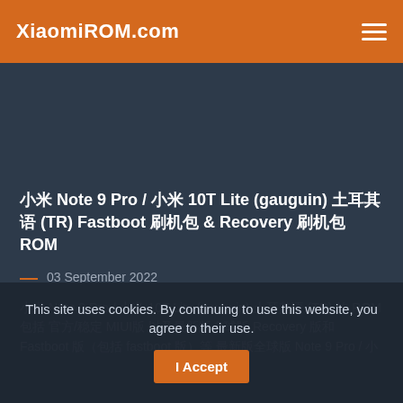XiaomiROM.com
小米 Note 9 Pro / 小米 10T Lite (gauguin) 土耳其语 (TR) Fastboot 刷机包 & Recovery 刷机包 ROM
03 September 2022
小米 Note 9 Pro / 小米 10T Lite (gauguin) 土耳其语 (TR) 的 ROM包括 官方/稳定 MIUI版 以及最新版全球版 Recovery 版和 Fastboot 版（包括 fastboot 版）等 最新版全球版 Note 9 Pro / 小米
This site uses cookies. By continuing to use this website, you agree to their use. I Accept